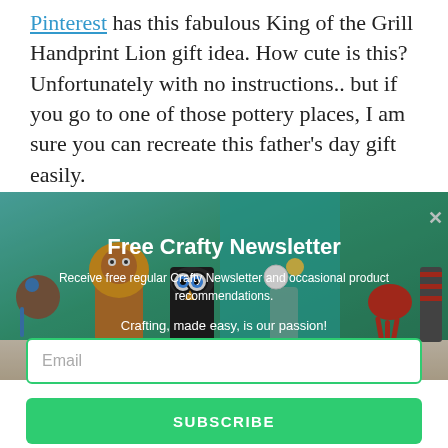Pinterest has this fabulous King of the Grill Handprint Lion gift idea. How cute is this? Unfortunately with no instructions.. but if you go to one of those pottery places, I am sure you can recreate this father's day gift easily.
[Figure (photo): Colorful handmade craft animal figures lined up on a shelf including a lion, owl, octopus and other animals made from toilet paper rolls and painted rocks, with flowers in a vase in the background. Overlay shows a newsletter signup popup titled 'Free Crafty Newsletter'.]
Free Crafty Newsletter
Receive free regular Crafty Newsletter and occasional product recommendations.
Crafting, made easy, is our passion!
Email
SUBSCRIBE